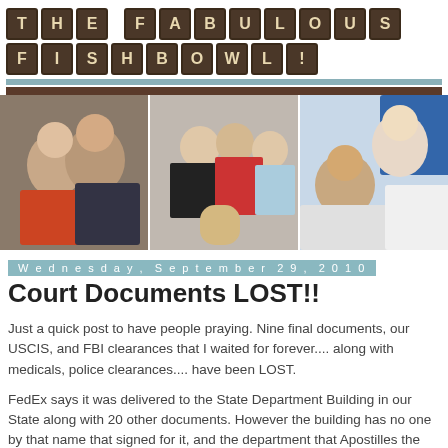THE FABULOUS FISHBOWL!
[Figure (photo): Three photos of young children side by side: left shows two older boys, middle shows three boys including a baby, right shows two babies/toddlers]
Wednesday, September 29, 2010
Court Documents LOST!!
Just a quick post to have people praying. Nine final documents, our USCIS, and FBI clearances that I waited for forever.... along with medicals, police clearances.... have been LOST.
FedEx says it was delivered to the State Department Building in our State along with 20 other documents. However the building has no one by that name that signed for it, and the department that Apostilles the documents